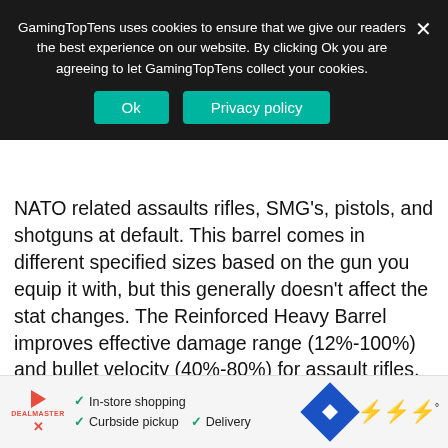GamingTopTens uses cookies to ensure that we give our readers the best experience on our website. By clicking Ok you are agreeing to let GamingTopTens collect your cookies.
Ok | Privacy policy
NATO related assaults rifles, SMG's, pistols, and shotguns at default. This barrel comes in different specified sizes based on the gun you equip it with, but this generally doesn't affect the stat changes. The Reinforced Heavy Barrel improves effective damage range (12%-100%) and bullet velocity (40%-80%) for assault rifles, SMG's, and pistols. The Pelington 703 sniper rifle gets an increased fire rate (11%) and bullet velocity (30%). Shotguns get an improved effective damage range (12%) and fire rate (5%-16%).
For assault rifles, SMG's, and pistols, sprinting move s... d ( ... ed aim